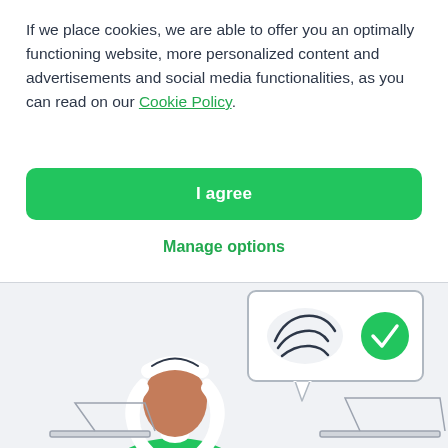If we place cookies, we are able to offer you an optimally functioning website, more personalized content and advertisements and social media functionalities, as you can read on our Cookie Policy.
I agree
Manage options
[Figure (illustration): Illustration of a person with white hair wearing a green sweater, sitting at a desk. A speech bubble shows a cookie/fingerprint icon with a green checkmark circle. The background is light gray.]